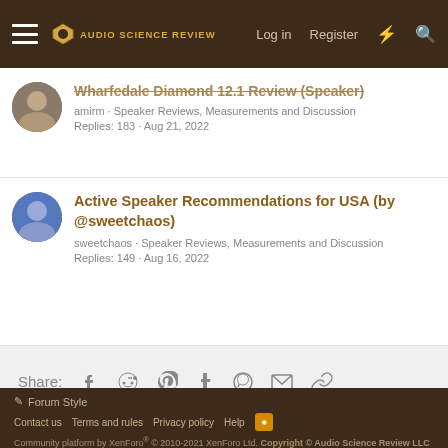Audio Science Review — Log in | Register
Wharfedale Diamond 12.1 Review (Speaker) · amirm · Speaker Reviews, Measurements and Discussion · Replies: 183 · Aug 21, 2022
Active Speaker Recommendations for USA (by @sweetchaos) · sweetchaos · Speaker Reviews, Measurements and Discussion · Replies: 149 · Aug 16, 2022
Share:
Speaker Reviews, Measurements and Discussion
Forum Style
Contact us · Terms and rules · Privacy policy · Help · Community platform by XenForo® © 2010-2021 XenForo Ltd. Copyright © Audio Science Review LLC · XenPorta 2 PRO © Jason Axelrod of 8WAYRUN